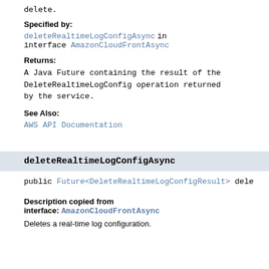delete.
Specified by: deleteRealtimeLogConfigAsync in interface AmazonCloudFrontAsync
Returns: A Java Future containing the result of the DeleteRealtimeLogConfig operation returned by the service.
See Also: AWS API Documentation
deleteRealtimeLogConfigAsync
public Future<DeleteRealtimeLogConfigResult> dele
Description copied from interface: AmazonCloudFrontAsync
Deletes a real-time log configuration.